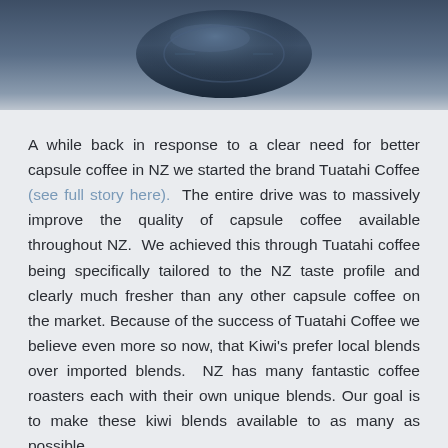[Figure (photo): Dark blue-grey header image showing a close-up of what appears to be a coffee capsule machine or capsule, with a blurred metallic object visible against a dark blue gradient background.]
A while back in response to a clear need for better capsule coffee in NZ we started the brand Tuatahi Coffee (see full story here). The entire drive was to massively improve the quality of capsule coffee available throughout NZ. We achieved this through Tuatahi coffee being specifically tailored to the NZ taste profile and clearly much fresher than any other capsule coffee on the market. Because of the success of Tuatahi Coffee we believe even more so now, that Kiwi's prefer local blends over imported blends. NZ has many fantastic coffee roasters each with their own unique blends. Our goal is to make these kiwi blends available to as many as possible.